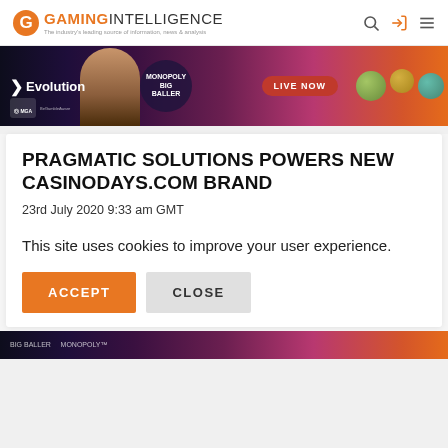Gaming Intelligence — The industry's leading source of information, news & analysis
[Figure (illustration): Evolution Gaming banner advertisement featuring Monopoly Big Baller game with 'LIVE NOW' call to action and a woman smiling]
PRAGMATIC SOLUTIONS POWERS NEW CASINODAYS.COM BRAND
23rd July 2020 9:33 am GMT
This site uses cookies to improve your user experience.
ACCEPT   CLOSE